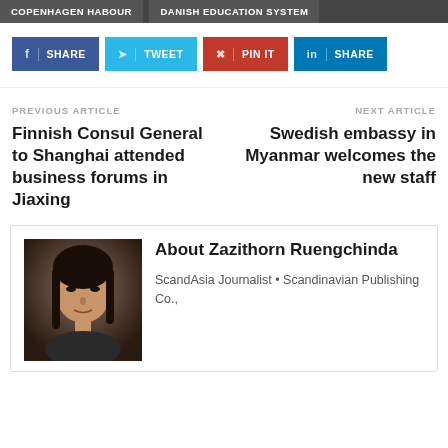COPENHAGEN HABOUR | DANISH EDUCATION SYSTEM
f SHARE
TWEET
PIN IT
in SHARE
PREVIOUS ARTICLE
Finnish Consul General to Shanghai attended business forums in Jiaxing
NEXT ARTICLE
Swedish embassy in Myanmar welcomes the new staff
About Zazithorn Ruengchinda
ScandAsia Journalist • Scandinavian Publishing Co.,